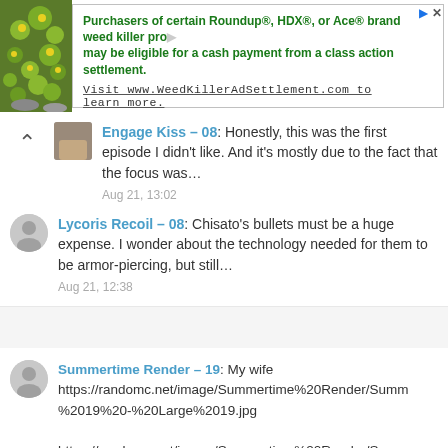[Figure (other): Advertisement banner for WeedKillerAdSettlement.com with green plant image on left and ad text about Roundup, HDX, or Ace brand weed killer class action settlement cash payment]
Engage Kiss – 08: Honestly, this was the first episode I didn't like. And it's mostly due to the fact that the focus was…
Aug 21, 13:02
Lycoris Recoil – 08: Chisato's bullets must be a huge expense. I wonder about the technology needed for them to be armor-piercing, but still…
Aug 21, 12:38
Summertime Render – 19: My wife
https://randomc.net/image/Summertime%20Render/Summ%2019%20-%20Large%2019.jpg
https://randomc.net/image/Summertime%20Render/Summ%2019%20-%20Large%2036.jpg
https://randomc.net/image/Summertime%20Render/Summ%2019%20-%20Large%2021.jpg